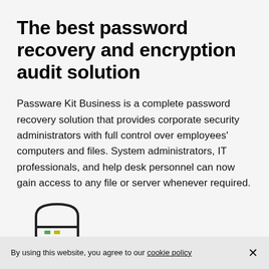The best password recovery and encryption audit solution
Passware Kit Business is a complete password recovery solution that provides corporate security administrators with full control over employees' computers and files. System administrators, IT professionals, and help desk personnel can now gain access to any file or server whenever required.
[Figure (illustration): Icon of a hard drive / server appliance with two small colored indicator lights (green/yellow) on the front panel]
Detect encrypted files and
By using this website, you agree to our cookie policy  ×